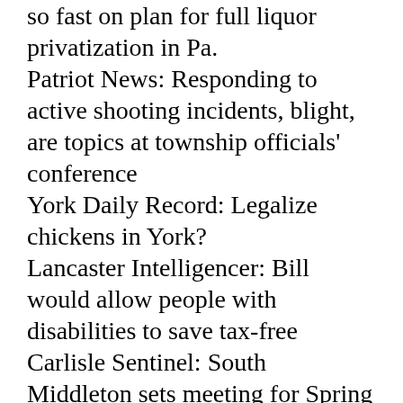so fast on plan for full liquor privatization in Pa.
Patriot News: Responding to active shooting incidents, blight, are topics at township officials' conference
York Daily Record: Legalize chickens in York?
Lancaster Intelligencer: Bill would allow people with disabilities to save tax-free
Carlisle Sentinel: South Middleton sets meeting for Spring Meadows Park construction plan
Lehigh Valley
Reading Eagle: Exeter school board plans to vote Tuesday on possible merger with Antietam
WFMZ: Nazareth gas spill is still contaminating the water supply